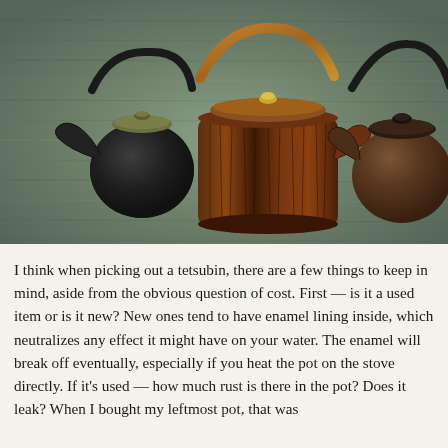[Figure (photo): Three Japanese cast iron tetsubin (tea kettles) arranged on a gray-green carpet. Left: small dark black kettle with olive-colored lid. Center: medium-tall kettle with reddish-brown wood-grain texture and copper handle, brownish lid with gold knob. Right: medium rounded dark brown/rust kettle with dark lid and black handle.]
I think when picking out a tetsubin, there are a few things to keep in mind, aside from the obvious question of cost. First — is it a used item or is it new? New ones tend to have enamel lining inside, which neutralizes any effect it might have on your water. The enamel will break off eventually, especially if you heat the pot on the stove directly. If it's used — how much rust is there in the pot? Does it leak? When I bought my leftmost pot, that was